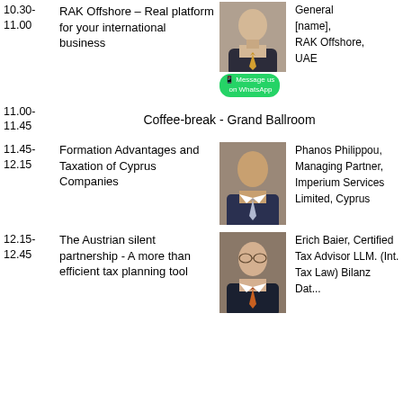| Time | Topic | Photo | Speaker |
| --- | --- | --- | --- |
| 10.30-11.00 | RAK Offshore – Real platform for your international business | [photo] | General [name], RAK Offshore, UAE |
| 11.00-11.45 | Coffee-break - Grand Ballroom |  |  |
| 11.45-12.15 | Formation Advantages and Taxation of Cyprus Companies | [photo] | Phanos Philippou, Managing Partner, Imperium Services Limited, Cyprus |
| 12.15-12.45 | The Austrian silent partnership - A more than efficient tax planning tool | [photo] | Erich Baier, Certified Tax Advisor LLM. (Int. Tax Law) Bilanz Dat... |